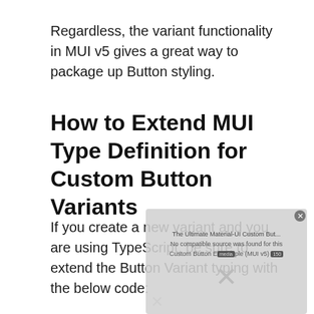Regardless, the variant functionality in MUI v5 gives a great way to package up Button styling.
How to Extend MUI Type Definition for Custom Button Variants
If you create a new variant and you are using TypeScript, be sure to extend the Button Variant typing with the below code:
[Figure (other): Video overlay popup showing 'The Ultimate Material-UI Custom But...' with error message 'No compatible source was found for this Custom Button Example (MUI v5)' and a large X icon indicating media playback error. A close button appears in the top right corner of the overlay.]